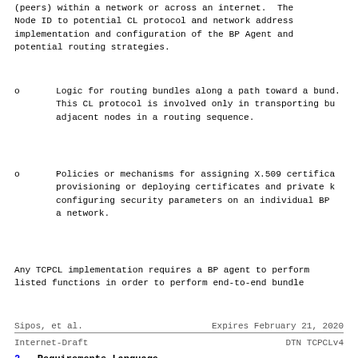(peers) within a network or across an internet. The Node ID to potential CL protocol and network address implementation and configuration of the BP Agent and potential routing strategies.
Logic for routing bundles along a path toward a bund. This CL protocol is involved only in transporting bu adjacent nodes in a routing sequence.
Policies or mechanisms for assigning X.509 certifica provisioning or deploying certificates and private k configuring security parameters on an individual BP a network.
Any TCPCL implementation requires a BP agent to perform listed functions in order to perform end-to-end bundle
Sipos, et al.                    Expires February 21, 2020
Internet-Draft                              DTN TCPCLv4
2.  Requirements Language
The key words "MUST", "MUST NOT", "REQUIRED", "SHALL", "SHOULD", "SHOULD NOT", "RECOMMENDED", "NOT RECOMMENDED